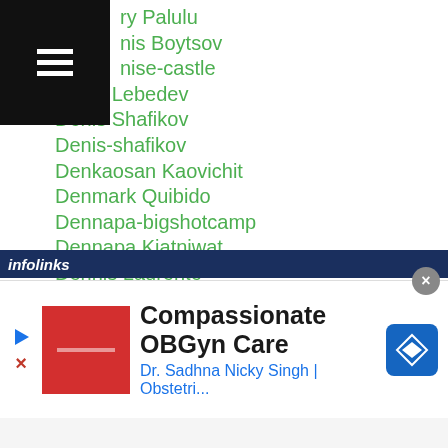ry Palulu
nis Boytsov
nise-castle
Denis Lebedev
Denis Shafikov
Denis-shafikov
Denkaosan Kaovichit
Denmark Quibido
Dennapa-bigshotcamp
Dennapa Kiatniwat
Dennis Laurente
Dennis Tubieron
Denver Cuello
Desafio4
Desierto Nagaike
Dexter Alimento
[Figure (screenshot): Infolinks advertisement bar at the bottom showing 'Compassionate OBGyn Care - Dr. Sadhna Nicky Singh | Obstetri...' ad with a red image placeholder and blue navigation icon]